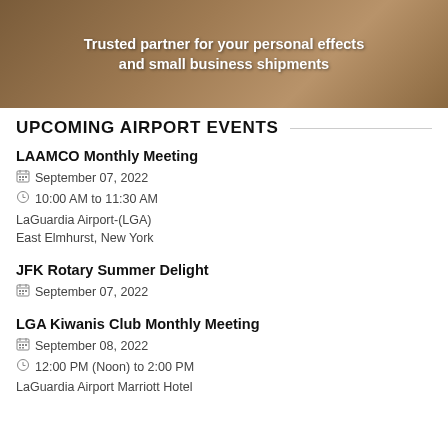[Figure (photo): Banner image showing a cardboard box on a wooden surface with text overlay: 'Trusted partner for your personal effects and small business shipments']
UPCOMING AIRPORT EVENTS
LAAMCO Monthly Meeting
September 07, 2022
10:00 AM to 11:30 AM
LaGuardia Airport-(LGA)
East Elmhurst, New York
JFK Rotary Summer Delight
September 07, 2022
LGA Kiwanis Club Monthly Meeting
September 08, 2022
12:00 PM (Noon) to 2:00 PM
LaGuardia Airport Marriott Hotel